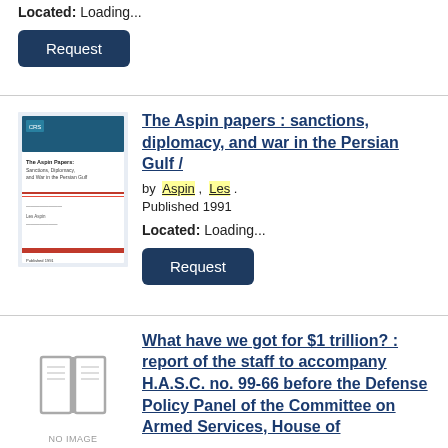Located: Loading...
Request
The Aspin papers : sanctions, diplomacy, and war in the Persian Gulf /
by Aspin , Les .
Published 1991
Located: Loading...
Request
What have we got for $1 trillion? : report of the staff to accompany H.A.S.C. no. 99-66 before the Defense Policy Panel of the Committee on Armed Services, House of